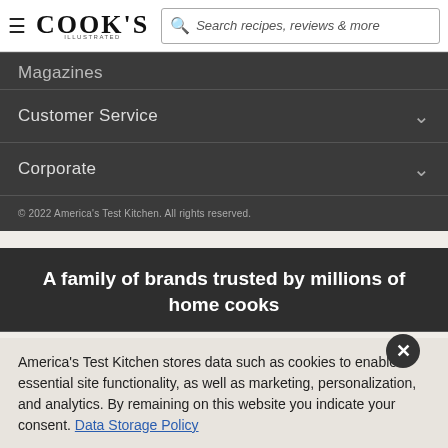Cook's Illustrated — Search recipes, reviews & more
Magazines
Customer Service
Corporate
© 2022 America's Test Kitchen. All rights reserved.
A family of brands trusted by millions of home cooks
America's Test Kitchen stores data such as cookies to enable essential site functionality, as well as marketing, personalization, and analytics. By remaining on this website you indicate your consent. Data Storage Policy